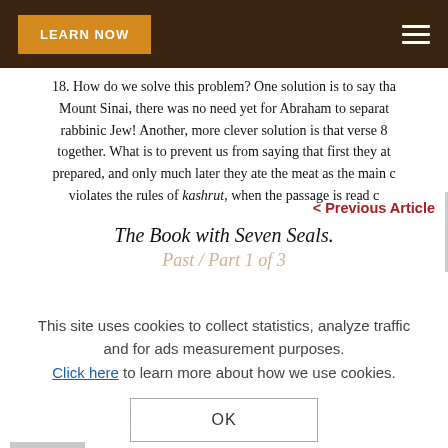LEARN NOW
18. How do we solve this problem? One solution is to say that before Mount Sinai, there was no need yet for Abraham to separate... rabbinic Jew! Another, more clever solution is that verse 8 together. What is to prevent us from saying that first they ate prepared, and only much later they ate the meat as the main course violates the rules of kashrut, when the passage is read...
< Previous Article
The Book with Seven Seals.
This site uses cookies to collect statistics, analyze traffic and for ads measurement purposes. Click here to learn more about how we use cookies.
OK
About the author
Jonathan Diseck believes that...